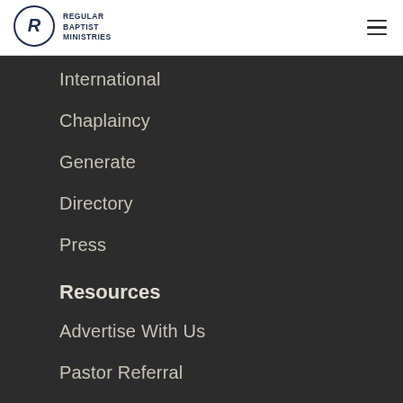[Figure (logo): Regular Baptist Ministries logo with circular R emblem and text]
International
Chaplaincy
Generate
Directory
Press
Resources
Advertise With Us
Pastor Referral
Podcast